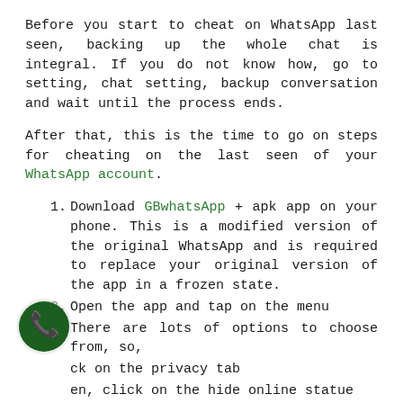Before you start to cheat on WhatsApp last seen, backing up the whole chat is integral. If you do not know how, go to setting, chat setting, backup conversation and wait until the process ends.
After that, this is the time to go on steps for cheating on the last seen of your WhatsApp account.
Download GBwhatsApp + apk app on your phone. This is a modified version of the original WhatsApp and is required to replace your original version of the app in a frozen state.
Open the app and tap on the menu
There are lots of options to choose from, so, click on the privacy tab
then, click on the hide online statue
option under privacy
[Figure (logo): WhatsApp logo — dark green circle with white telephone handset icon]